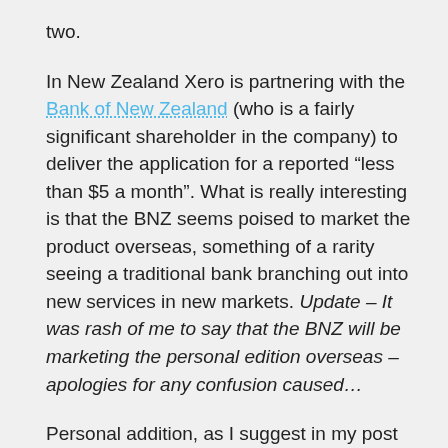two.
In New Zealand Xero is partnering with the Bank of New Zealand (who is a fairly significant shareholder in the company) to deliver the application for a reported “less than $5 a month”. What is really interesting is that the BNZ seems poised to market the product overseas, something of a rarity seeing a traditional bank branching out into new services in new markets. Update – It was rash of me to say that the BNZ will be marketing the personal edition overseas – apologies for any confusion caused…
Personal addition, as I suggest in my post from the start of the year, is a complete no-brainer, what remains to be seen is the strength of the bonds between Xero for business and Xero personal